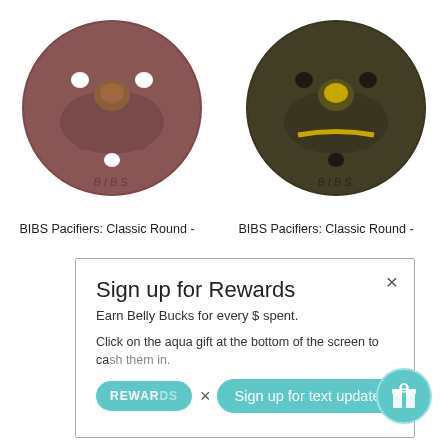[Figure (photo): Two BIBS Classic Round pacifiers side by side. Left pacifier is dark mauve/rosewood color. Right pacifier is dark olive/brown color. Both show the BIBS brand name on the shield.]
BIBS Pacifiers: Classic Round -
BIBS Pacifiers: Classic Round -
[Figure (screenshot): A modal popup overlay on a white background. Modal contains: Title 'Sign up for Rewards', subtitle 'Earn Belly Bucks for every $ spent.', body text 'Click on the aqua gift at the bottom of the screen to cash them in.', a teal 'REWARDS' pill button, a second X close button, and a teal 'Sign up for text updates' pill button with a speech bubble icon. A teal gift bubble icon appears in the bottom right corner outside the modal.]